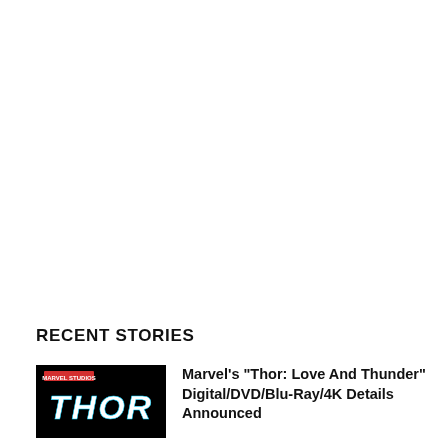RECENT STORIES
[Figure (photo): Thor: Love and Thunder movie thumbnail image with dark background and THOR logo text in stylized lettering]
Marvel's “Thor: Love And Thunder” Digital/DVD/Blu-Ray/4K Details Announced